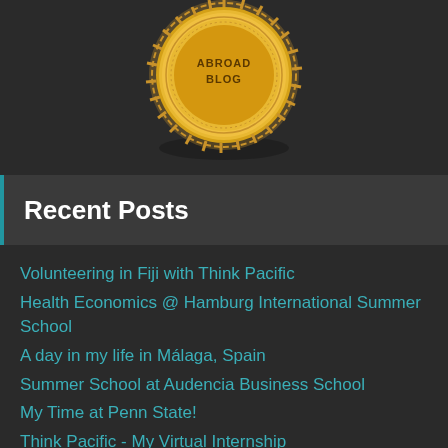[Figure (illustration): Gold seal/badge with text 'ABROAD BLOG' on dark background, partially visible at top of page]
Recent Posts
Volunteering in Fiji with Think Pacific
Health Economics @ Hamburg International Summer School
A day in my life in Málaga, Spain
Summer School at Audencia Business School
My Time at Penn State!
Think Pacific - My Virtual Internship
HEX | The Great Global Challenge
Think Pacific Internship!
Think Pacific - Business Development...